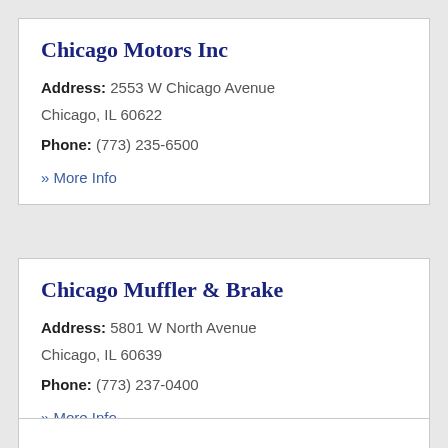Chicago Motors Inc
Address: 2553 W Chicago Avenue
Chicago, IL 60622
Phone: (773) 235-6500
» More Info
Chicago Muffler & Brake
Address: 5801 W North Avenue
Chicago, IL 60639
Phone: (773) 237-0400
» More Info